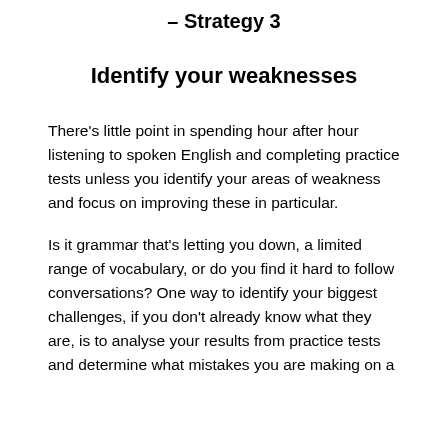– Strategy 3
Identify your weaknesses
There's little point in spending hour after hour listening to spoken English and completing practice tests unless you identify your areas of weakness and focus on improving these in particular.
Is it grammar that's letting you down, a limited range of vocabulary, or do you find it hard to follow conversations? One way to identify your biggest challenges, if you don't already know what they are, is to analyse your results from practice tests and determine what mistakes you are making on a